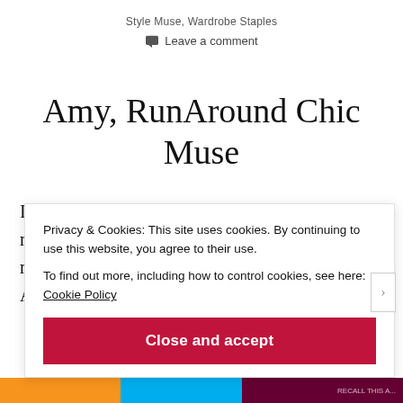Style Muse, Wardrobe Staples
Leave a comment
Amy, RunAround Chic Muse
I came across my next muse during my Sunday morning walk. I've seen several chic women that morning but none of them seemed friendly until Amy walked in and
Privacy & Cookies: This site uses cookies. By continuing to use this website, you agree to their use.
To find out more, including how to control cookies, see here: Cookie Policy
Close and accept